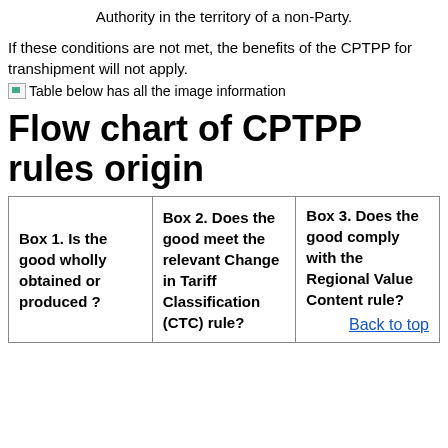Authority in the territory of a non-Party.
If these conditions are not met, the benefits of the CPTPP for transhipment will not apply.
[Figure (other): Image placeholder with alt text: Table below has all the image information]
Flow chart of CPTPP rules origin
| Box 1. Is the good wholly obtained or produced ? | Box 2. Does the good meet the relevant Change in Tariff Classification (CTC) rule? | Box 3. Does the good comply with the Regional Value Content rule? |
| --- | --- | --- |